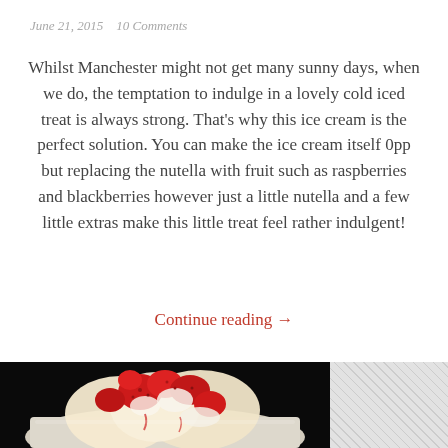June 21, 2015   10 Comments
Whilst Manchester might not get many sunny days, when we do, the temptation to indulge in a lovely cold iced treat is always strong. That’s why this ice cream is the perfect solution. You can make the ice cream itself 0pp but replacing the nutella with fruit such as raspberries and blackberries however just a little nutella and a few little extras make this little treat feel rather indulgent!
Continue reading →
[Figure (photo): Photo of ice cream with strawberries in a white dish, dark background]